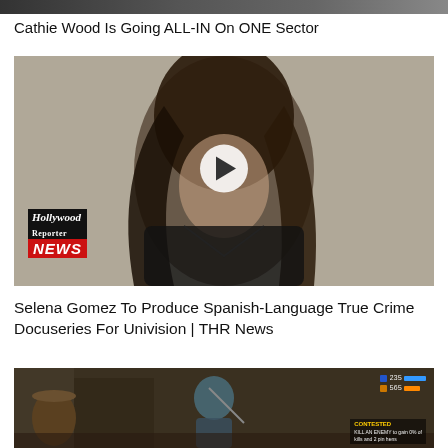[Figure (photo): Partial thumbnail image at top of page, partially cropped]
Cathie Wood Is Going ALL-IN On ONE Sector
[Figure (photo): Video thumbnail showing a woman with long brown hair wearing a black leather jacket, with a play button overlay. The Hollywood Reporter NEWS badge in bottom left corner.]
Selena Gomez To Produce Spanish-Language True Crime Docuseries For Univision | THR News
[Figure (screenshot): Video game screenshot showing a warrior character with game HUD elements in top right corner showing health/stats bars with numbers 235 and 565, and a mission objective text reading CONTESTED.]